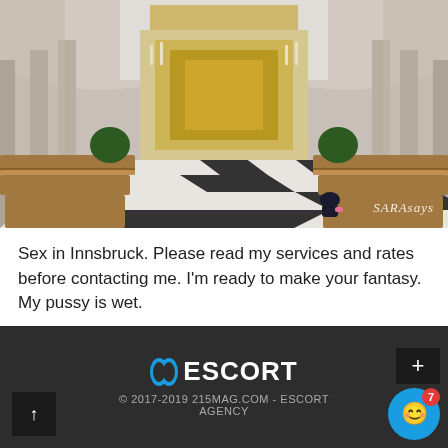[Figure (photo): Interior of an ornate church with wooden pews, black and white checkered floor, and elaborate golden altar. Watermark 'SARAsaуs' in lower right corner.]
Sex in Innsbruck. Please read my services and rates before contacting me. I'm ready to make your fantasy. My pussy is wet.
© 2017-2019 215MAG.COM - ESCORT AGENCY